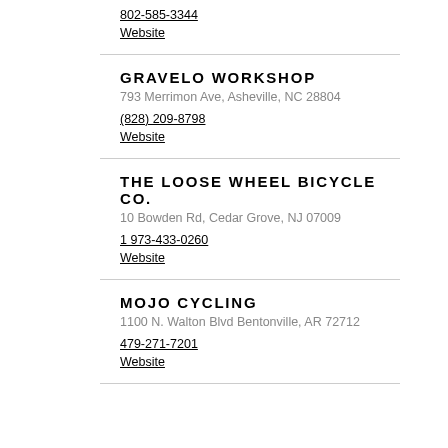802-585-3344
Website
GRAVELO WORKSHOP
793 Merrimon Ave, Asheville, NC 28804
(828) 209-8798
Website
THE LOOSE WHEEL BICYCLE CO.
10 Bowden Rd, Cedar Grove, NJ 07009
1 973-433-0260
Website
MOJO CYCLING
1100 N. Walton Blvd Bentonville, AR 72712
479-271-7201
Website